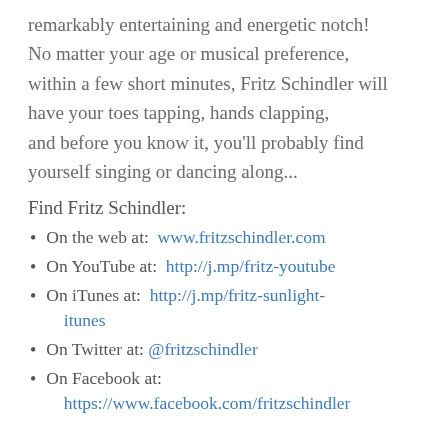remarkably entertaining and energetic notch! No matter your age or musical preference, within a few short minutes, Fritz Schindler will have your toes tapping, hands clapping, and before you know it, you'll probably find yourself singing or dancing along...
Find Fritz Schindler:
On the web at:  www.fritzschindler.com
On YouTube at:  http://j.mp/fritz-youtube
On iTunes at:  http://j.mp/fritz-sunlight-itunes
On Twitter at: @fritzschindler
On Facebook at:  https://www.facebook.com/fritzschindler